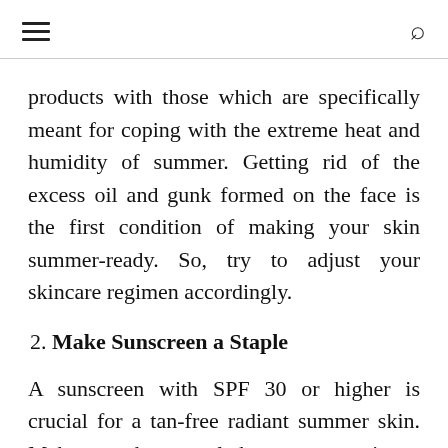≡  🔍
products with those which are specifically meant for coping with the extreme heat and humidity of summer. Getting rid of the excess oil and gunk formed on the face is the first condition of making your skin summer-ready. So, try to adjust your skincare regimen accordingly.
2. Make Sunscreen a Staple
A sunscreen with SPF 30 or higher is crucial for a tan-free radiant summer skin. Make sure that you slather a water-resistant broad-